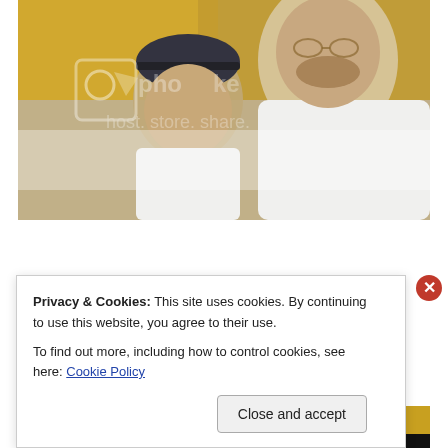[Figure (photo): A man with glasses and a beard wearing a white shirt holds a baby/toddler wearing a dark hat and white outfit. Autumn background with yellow/orange foliage. Stock photo watermark overlay visible.]
Privacy & Cookies: This site uses cookies. By continuing to use this website, you agree to their use.
To find out more, including how to control cookies, see here: Cookie Policy
Close and accept